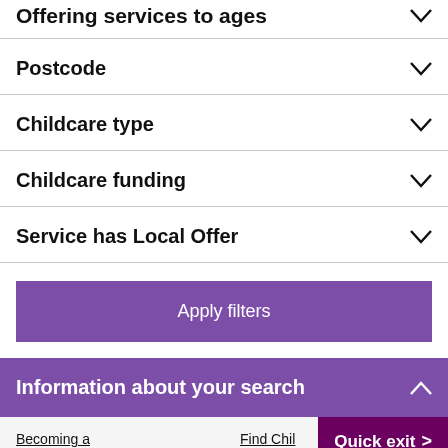Offering services to ages
Postcode
Childcare type
Childcare funding
Service has Local Offer
Apply filters
Information about your search
Becoming a
Find Chil
Centres and Bright
Quick exit >